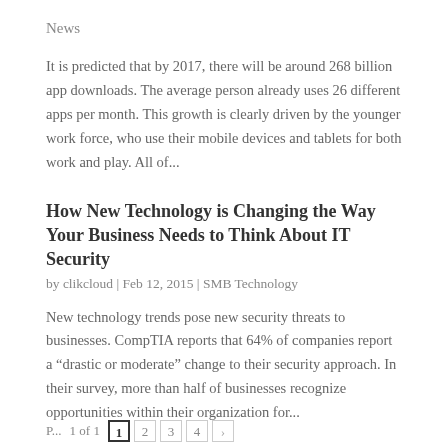News
It is predicted that by 2017, there will be around 268 billion app downloads. The average person already uses 26 different apps per month. This growth is clearly driven by the younger work force, who use their mobile devices and tablets for both work and play. All of...
How New Technology is Changing the Way Your Business Needs to Think About IT Security
by clikcloud | Feb 12, 2015 | SMB Technology
New technology trends pose new security threats to businesses. CompTIA reports that 64% of companies report a “drastic or moderate” change to their security approach. In their survey, more than half of businesses recognize opportunities within their organization for...
P... 1 of 1  1  2  3  4